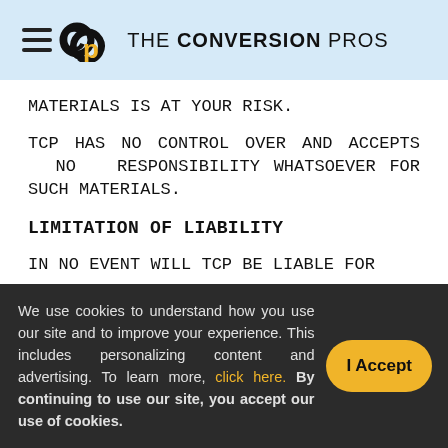THE CONVERSION PROS
MATERIALS IS AT YOUR RISK.
TCP HAS NO CONTROL OVER AND ACCEPTS NO RESPONSIBILITY WHATSOEVER FOR SUCH MATERIALS.
LIMITATION OF LIABILITY
IN NO EVENT WILL TCP BE LIABLE FOR
We use cookies to understand how you use our site and to improve your experience. This includes personalizing content and advertising. To learn more, click here. By continuing to use our site, you accept our use of cookies.